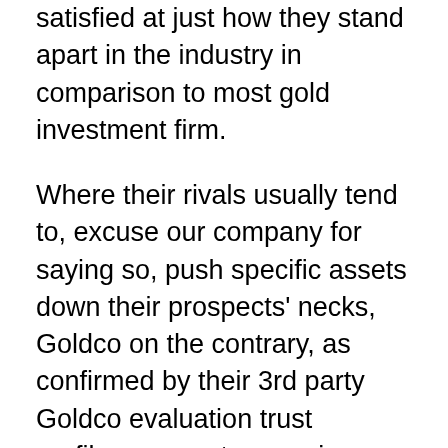satisfied at just how they stand apart in the industry in comparison to most gold investment firm.
Where their rivals usually tend to, excuse our company for saying so, push specific assets down their prospects' necks, Goldco on the contrary, as confirmed by their 3rd party Goldco evaluation trust profiles, present a genuine dedication to correct client service, with patience spending their opportunity and also expertise to adequately determine what their prospect's needs are actually based upon their personal circumstance, not “one hat fits all” as this is almost never in the prospect’s best interests.
Goldco might certainly not be also referred